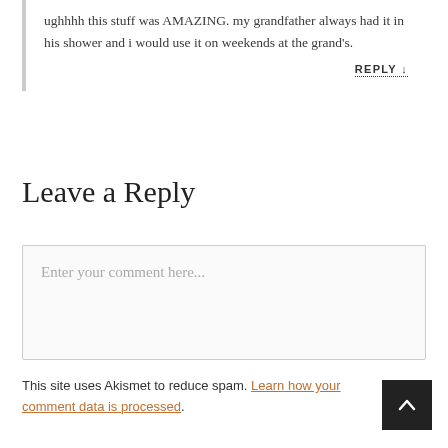ughhhh this stuff was AMAZING. my grandfather always had it in his shower and i would use it on weekends at the grand's.
REPLY ↓
Leave a Reply
Enter your comment here...
This site uses Akismet to reduce spam. Learn how your comment data is processed.